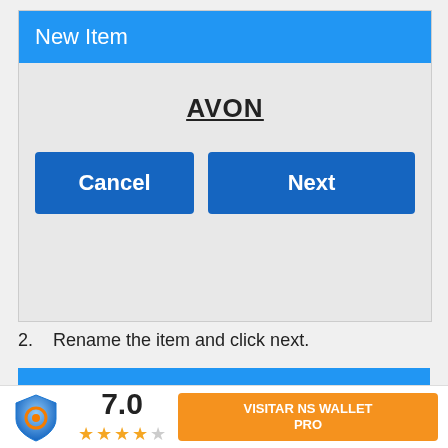[Figure (screenshot): Mobile app dialog screenshot showing 'New Item' header in blue, 'AVON' text underlined in center, and two blue buttons: 'Cancel' and 'Next']
2.   Rename the item and click next.
[Figure (screenshot): NS Wallet app bar shown in blue with white text 'NS Wallet']
[Figure (infographic): App store bottom bar showing NS Wallet logo icon, rating 7.0 with 3.5 stars, and orange button 'VISITAR NS WALLET PRO']